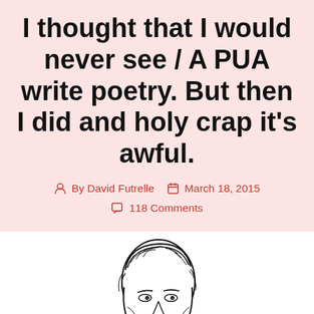I thought that I would never see / A PUA write poetry. But then I did and holy crap it's awful.
By David Futrelle   March 18, 2015
118 Comments
[Figure (illustration): Black and white line illustration of a young man with styled hair, holding a quill pen, appearing to be writing poetry. Vintage engraving style.]